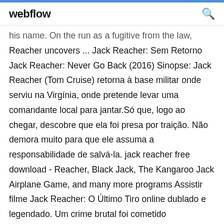webflow
his name. On the run as a fugitive from the law, Reacher uncovers ... Jack Reacher: Sem Retorno Jack Reacher: Never Go Back (2016) Sinopse: Jack Reacher (Tom Cruise) retorna à base militar onde serviu na Virgínia, onde pretende levar uma comandante local para jantar.Só que, logo ao chegar, descobre que ela foi presa por traição. Não demora muito para que ele assuma a responsabilidade de salvá-la. jack reacher free download - Reacher, Black Jack, The Kangaroo Jack Airplane Game, and many more programs Assistir filme Jack Reacher: O Último Tiro online dublado e legendado. Um crime brutal foi cometido